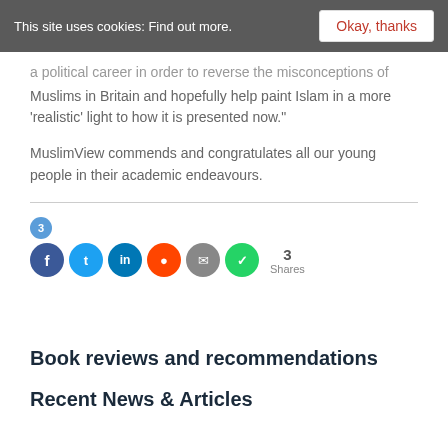This site uses cookies: Find out more.  Okay, thanks
a political career in order to reverse the misconceptions of Muslims in Britain and hopefully help paint Islam in a more 'realistic' light to how it is presented now."
MuslimView commends and congratulates all our young people in their academic endeavours.
[Figure (infographic): Social share buttons: 3 shares count bubble, Facebook, Twitter, LinkedIn, Reddit, Email, WhatsApp icons, 3 Shares label]
Book reviews and recommendations
Recent News & Articles